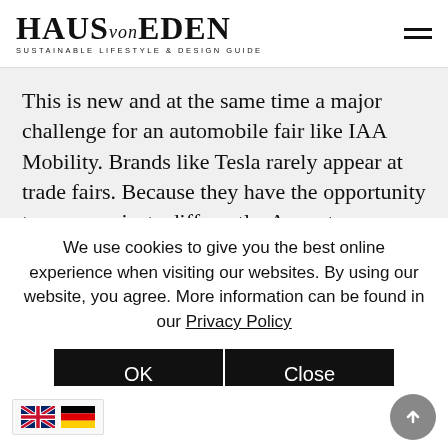HAUS von EDEN — SUSTAINABLE LIFESTYLE & DESIGN GUIDE
This is new and at the same time a major challenge for an automobile fair like IAA Mobility. Brands like Tesla rarely appear at trade fairs. Because they have the opportunity to communicate differently. A great marketing machine is, for example, founder Elon
We use cookies to give you the best online experience when visiting our websites. By using our website, you agree. More information can be found in our Privacy Policy
OK
Close